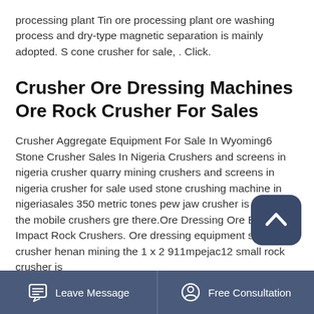processing plant Tin ore processing plant ore washing process and dry-type magnetic separation is mainly adopted. S cone crusher for sale, . Click.
Crusher Ore Dressing Machines Ore Rock Crusher For Sales
Crusher Aggregate Equipment For Sale In Wyoming6 Stone Crusher Sales In Nigeria Crushers and screens in nigeria crusher quarry mining crushers and screens in nigeria crusher for sale used stone crushing machine in nigeriasales 350 metric tones pew jaw crusher is known as the mobile crushers gre there.Ore Dressing Ore Best Impact Rock Crushers. Ore dressing equipment small rock crusher henan mining the 1 x 2 911mpejac12 small rock crusher is
Leave Message   Free Consultation